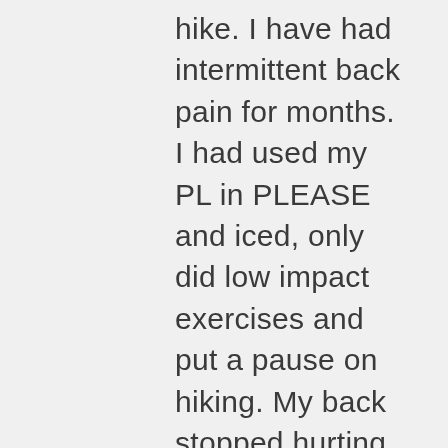hike. I have had intermittent back pain for months. I had used my PL in PLEASE and iced, only did low impact exercises and put a pause on hiking. My back stopped hurting until today. I start tearing up, with that thought, “I’m not going to make it.” I try to leave the thought on the conveyor belt and look up at the horizon. Mt Whitney, foreboding in the distance. I start to cry just a bit. Again, I have the thought, “I’m not going to make it.” I am mindful of my current emotion – fear. I’m afraid I will be in too much pain –afraid that I will get sick –afraid of being afraid on the high narrow trail in the wind. I put a heating pad on my back and take some